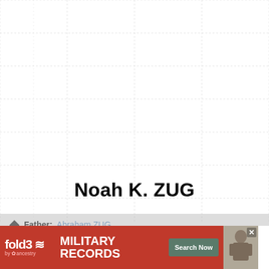[Figure (other): Grid/table background pattern — light gray dashed grid lines forming a genealogy tree chart layout, mostly empty]
Noah K. ZUG
Father: Abraham ZUG
Mother: Maria KURTZ
Birth: [partially obscured by ad]
Death: [partially obscured by ad]
[Figure (other): fold3 by Ancestry advertisement banner for Military Records with Search Now button and a military officer photo]